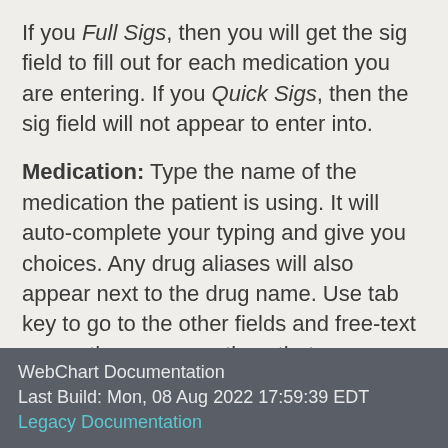If you Full Sigs, then you will get the sig field to fill out for each medication you are entering. If you Quick Sigs, then the sig field will not appear to enter into.
Medication: Type the name of the medication the patient is using. It will auto-complete your typing and give you choices. Any drug aliases will also appear next to the drug name. Use tab key to go to the other fields and free-text or use the pop-up options that appear. The medications Quick Add screen allows entry of a form even for systems that prescribe from inventory
WebChart Documentation
Last Build: Mon, 08 Aug 2022 17:59:39 EDT Legacy Documentation